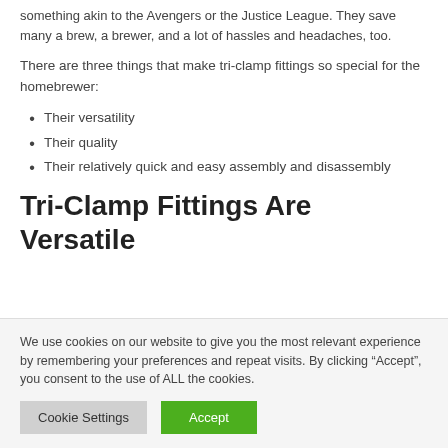something akin to the Avengers or the Justice League. They save many a brew, a brewer, and a lot of hassles and headaches, too.
There are three things that make tri-clamp fittings so special for the homebrewer:
Their versatility
Their quality
Their relatively quick and easy assembly and disassembly
Tri-Clamp Fittings Are Versatile
We use cookies on our website to give you the most relevant experience by remembering your preferences and repeat visits. By clicking “Accept”, you consent to the use of ALL the cookies.